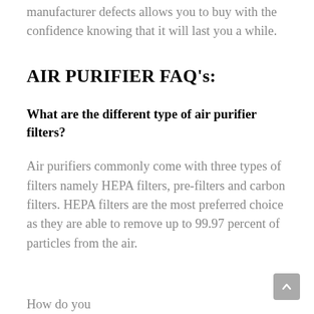manufacturer defects allows you to buy with the confidence knowing that it will last you a while.
AIR PURIFIER FAQ's:
What are the different type of air purifier filters?
Air purifiers commonly come with three types of filters namely HEPA filters, pre-filters and carbon filters. HEPA filters are the most preferred choice as they are able to remove up to 99.97 percent of particles from the air.
How do you